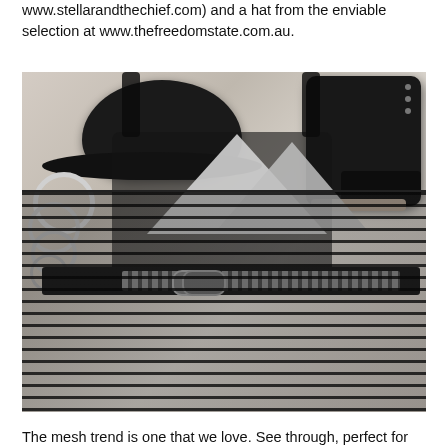www.stellarandthechief.com) and a hat from the enviable selection at www.thefreedomstate.com.au.
[Figure (photo): Flat lay fashion photo showing a black mesh/tulle dress with silver sequin triangle top and studded belt, a black wide-brim hat, black ankle boots, and silver hoop earrings arranged on a white distressed wooden surface.]
The mesh trend is one that we love. See through, perfect for